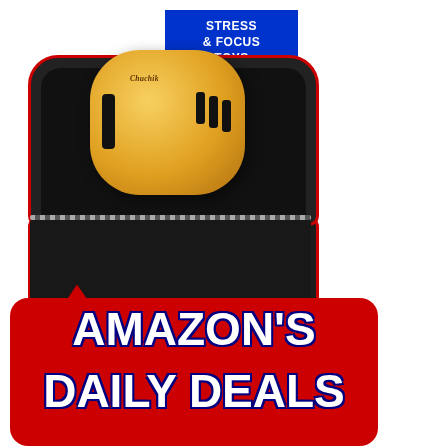[Figure (photo): Product photo of a Chuchik branded wooden fidget cube stress toy sitting inside an open black hard-shell case with red zipper trim, displayed against a white background. A red upward-pointing arrow appears below the case.]
STRESS & FOCUS TOYS
AMAZON'S
DAILY DEALS